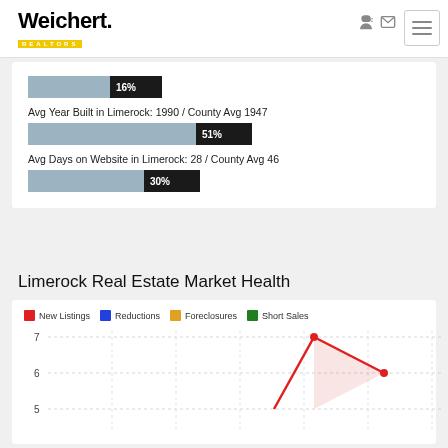[Figure (logo): Weichert Realtors logo with black bold text and yellow underline bar]
16%
Avg Year Built in Limerock: 1990 / County Avg 1947
51%
Avg Days on Website in Limerock: 28 / County Avg 46
30%
Limerock Real Estate Market Health
[Figure (line-chart): Line chart showing New Listings, Reductions, Foreclosures, Short Sales over time. Y-axis shows values 5, 6, 7. Red line (New Listings) peaks around 7 then drops to ~6. Chart partially visible at bottom.]